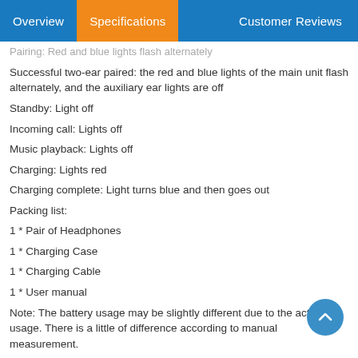Overview | Specifications | Customer Reviews
Pairing: Red and blue lights flash alternately
Successful two-ear paired: the red and blue lights of the main unit flash alternately, and the auxiliary ear lights are off
Standby: Light off
Incoming call: Lights off
Music playback: Lights off
Charging: Lights red
Charging complete: Light turns blue and then goes out
Packing list:
1 * Pair of Headphones
1 * Charging Case
1 * Charging Cable
1 * User manual
Note: The battery usage may be slightly different due to the actual usage. There is a little of difference according to manual measurement.
Item color displayed in photos may be showing slightly different on your computer monitor since monitors are not calibrated same.